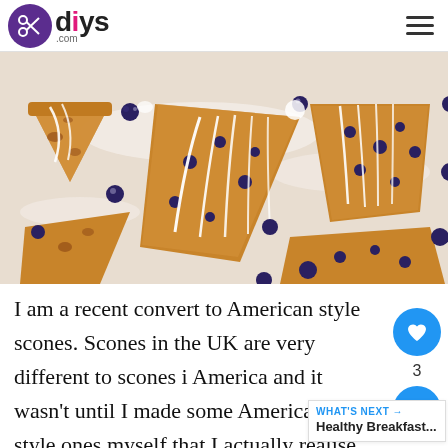diys.com
[Figure (photo): Overhead view of blueberry scones with white icing drizzle scattered among fresh blueberries on a white surface]
I am a recent convert to American style scones. Scones in the UK are very different to scones in America and it wasn't until I made some American style ones myself that I actually realise different they are. In Britain, scones are primarily